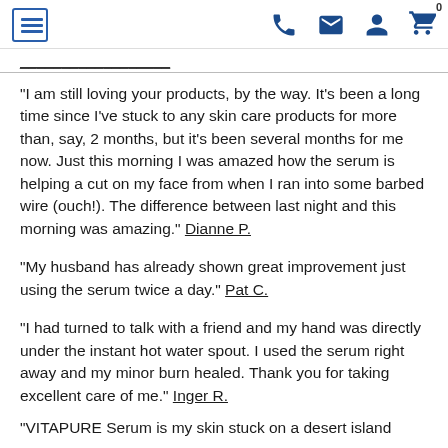[hamburger menu icon] [phone icon] [email icon] [account icon] [cart icon] 0
[partial navigation text with underline]
"I am still loving your products, by the way. It's been a long time since I've stuck to any skin care products for more than, say, 2 months, but it's been several months for me now. Just this morning I was amazed how the serum is helping a cut on my face from when I ran into some barbed wire (ouch!). The difference between last night and this morning was amazing." Dianne P.
"My husband has already shown great improvement just using the serum twice a day." Pat C.
"I had turned to talk with a friend and my hand was directly under the instant hot water spout. I used the serum right away and my minor burn healed. Thank you for taking excellent care of me." Inger R.
"VITAPURE Serum is my skin stuck on a desert island